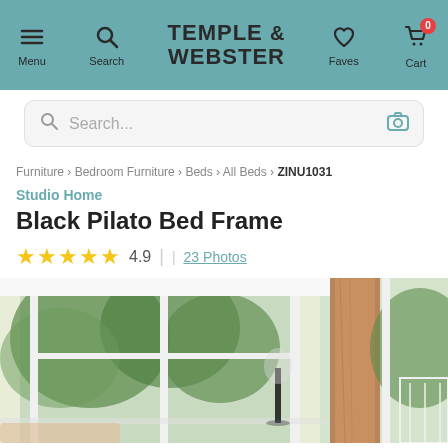[Figure (screenshot): Temple & Webster navigation bar with menu, search, logo, faves, and cart icons on teal background]
Search...
Furniture › Bedroom Furniture › Beds › All Beds › ZINU1031
Studio Home
Black Pilato Bed Frame
★★★★★ 4.9 | 23 Photos
[Figure (photo): Bedroom product lifestyle photo showing a room with white walls, greenery visible through windows, a wooden bed frame headboard, and a lamp on a nightstand]